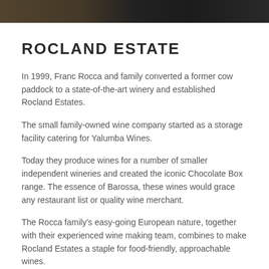[Figure (photo): Dark header image showing a vineyard or landscape scene, dark brown and black tones.]
ROCLAND ESTATE
In 1999, Franc Rocca and family converted a former cow paddock to a state-of-the-art winery and established Rocland Estates.
The small family-owned wine company started as a storage facility catering for Yalumba Wines.
Today they produce wines for a number of smaller independent wineries and created the iconic Chocolate Box range. The essence of Barossa, these wines would grace any restaurant list or quality wine merchant.
The Rocca family's easy-going European nature, together with their experienced wine making team, combines to make Rocland Estates a staple for food-friendly, approachable wines.